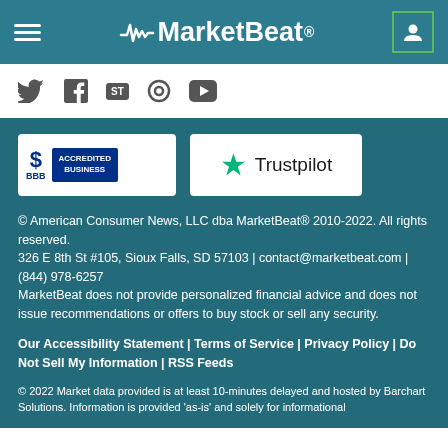MarketBeat
[Figure (logo): Social media icons: Twitter, Facebook, StockTwits, Medium/other, YouTube]
[Figure (logo): BBB Accredited Business badge and Trustpilot badge]
© American Consumer News, LLC dba MarketBeat® 2010-2022. All rights reserved.
326 E 8th St #105, Sioux Falls, SD 57103 | contact@marketbeat.com | (844) 978-6257
MarketBeat does not provide personalized financial advice and does not issue recommendations or offers to buy stock or sell any security.
Our Accessibility Statement | Terms of Service | Privacy Policy | Do Not Sell My Information | RSS Feeds
© 2022 Market data provided is at least 10-minutes delayed and hosted by Barchart Solutions. Information is provided 'as-is' and solely for informational